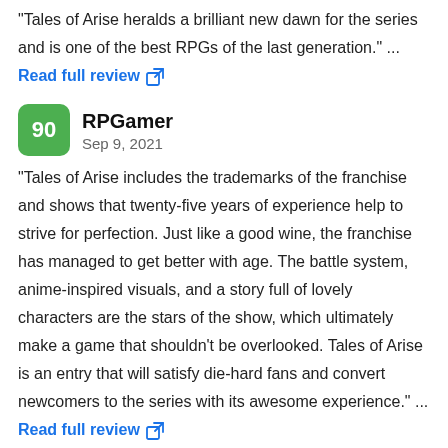"Tales of Arise heralds a brilliant new dawn for the series and is one of the best RPGs of the last generation." ... Read full review
RPGamer
Sep 9, 2021
"Tales of Arise includes the trademarks of the franchise and shows that twenty-five years of experience help to strive for perfection. Just like a good wine, the franchise has managed to get better with age. The battle system, anime-inspired visuals, and a story full of lovely characters are the stars of the show, which ultimately make a game that shouldn't be overlooked. Tales of Arise is an entry that will satisfy die-hard fans and convert newcomers to the series with its awesome experience." ... Read full review
GAMEMAG